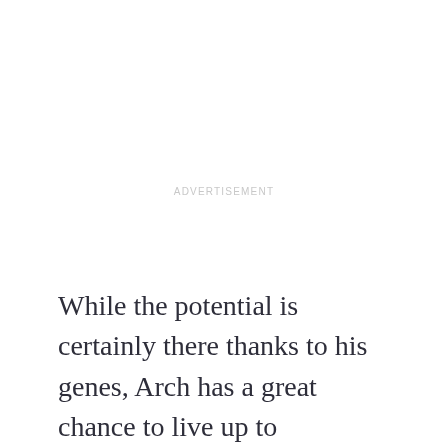ADVERTISEMENT
While the potential is certainly there thanks to his genes, Arch has a great chance to live up to